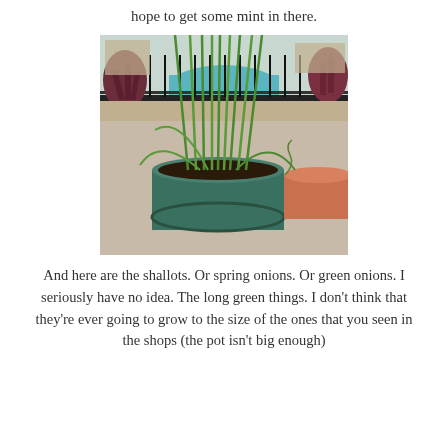hope to get some mint in there.
[Figure (photo): A teal/grey pot containing tall green chive or spring onion plants on an outdoor balcony/patio. In the background is a swimming pool surrounded by tropical plants and a black metal fence, with apartment buildings visible. A terracotta pot is partially visible on the right side.]
And here are the shallots. Or spring onions. Or green onions. I seriously have no idea. The long green things. I don't think that they're ever going to grow to the size of the ones that you seen in the shops (the pot isn't big enough)